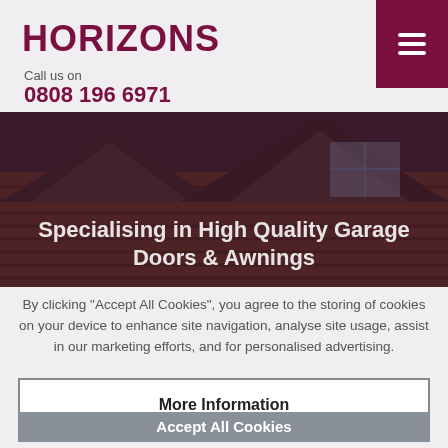HORIZONS
Call us on
0808 196 6971
[Figure (photo): Photograph of house rooftops with wooden siding and gable peaks against a dusky sky, with an overlay hero image showing 'Specialising in High Quality Garage Doors & Awnings']
Specialising in High Quality Garage Doors & Awnings
By clicking "Accept All Cookies", you agree to the storing of cookies on your device to enhance site navigation, analyse site usage, assist in our marketing efforts, and for personalised advertising.
More Information
Accept All Cookies